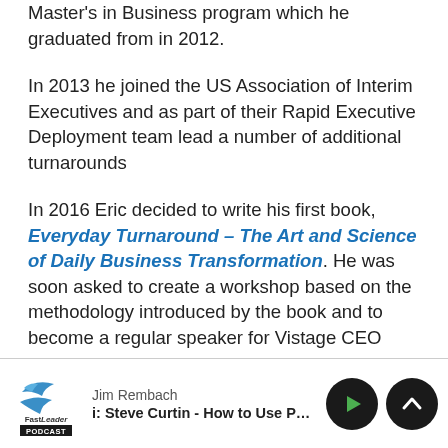Master's in Business program which he graduated from in 2012.
In 2013 he joined the US Association of Interim Executives and as part of their Rapid Executive Deployment team lead a number of additional turnarounds
In 2016 Eric decided to write his first book, Everyday Turnaround – The Art and Science of Daily Business Transformation. He was soon asked to create a workshop based on the methodology introduced by the book and to become a regular speaker for Vistage CEO peer
Jim Rembach | i: Steve Curtin - How to Use Purpose